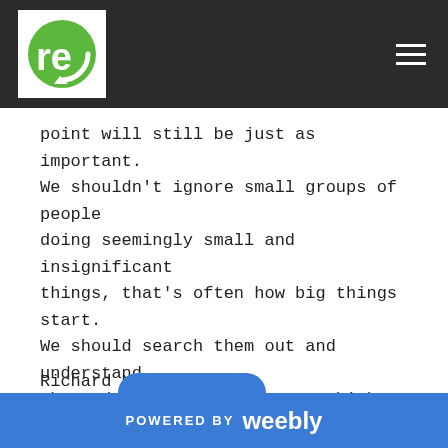re [logo] [hamburger menu]
point will still be just as important. We shouldn't ignore small groups of people doing seemingly small and insignificant things, that's often how big things start. We should search them out and understand why and ask "So what do you think needs to happen next?".
Richard Nicol
October 2016
POWERED BY weebly